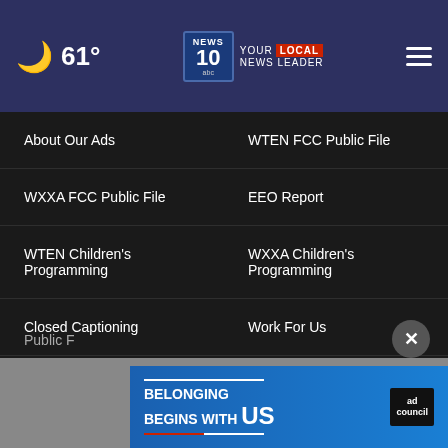61° NEWS 10 YOUR LOCAL NEWS LEADER
About Our Ads
WTEN FCC Public File
WXXA FCC Public File
EEO Report
WTEN Children's Programming
WXXA Children's Programming
Closed Captioning
Work For Us
Privacy Policy
Terms Of Use
Do Not Sell My Personal Information
FCC Applications
Public F…
[Figure (infographic): Ad banner: BELONGING BEGINS WITH US, Ad Council logo, blue background]